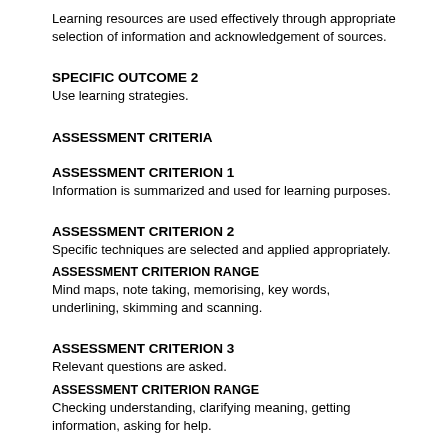Learning resources are used effectively through appropriate selection of information and acknowledgement of sources.
SPECIFIC OUTCOME 2
Use learning strategies.
ASSESSMENT CRITERIA
ASSESSMENT CRITERION 1
Information is summarized and used for learning purposes.
ASSESSMENT CRITERION 2
Specific techniques are selected and applied appropriately.
ASSESSMENT CRITERION RANGE
Mind maps, note taking, memorising, key words, underlining, skimming and scanning.
ASSESSMENT CRITERION 3
Relevant questions are asked.
ASSESSMENT CRITERION RANGE
Checking understanding, clarifying meaning, getting information, asking for help.
ASSESSMENT CRITERION 4